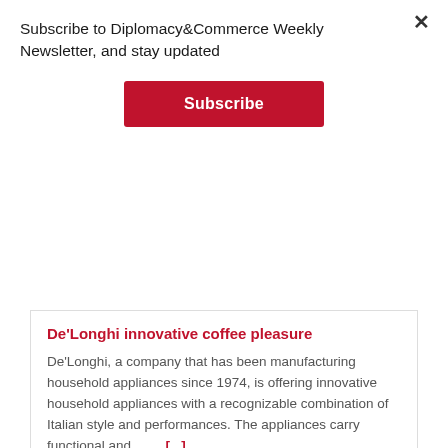Subscribe to Diplomacy&Commerce Weekly Newsletter, and stay updated
Subscribe
De'Longhi innovative coffee pleasure
De'Longhi, a company that has been manufacturing household appliances since 1974, is offering innovative household appliances with a recognizable combination of Italian style and performances. The appliances carry functional and……. [...]
You may Missed
[Figure (photo): Conference poster for Renewable Energy Sources of Serbia with green leaf logo and RES text, alongside a product photo of a metallic cylindrical object]